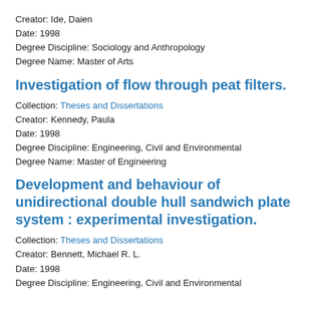Creator: Ide, Daien
Date: 1998
Degree Discipline: Sociology and Anthropology
Degree Name: Master of Arts
Investigation of flow through peat filters.
Collection: Theses and Dissertations
Creator: Kennedy, Paula
Date: 1998
Degree Discipline: Engineering, Civil and Environmental
Degree Name: Master of Engineering
Development and behaviour of unidirectional double hull sandwich plate system : experimental investigation.
Collection: Theses and Dissertations
Creator: Bennett, Michael R. L.
Date: 1998
Degree Discipline: Engineering, Civil and Environmental